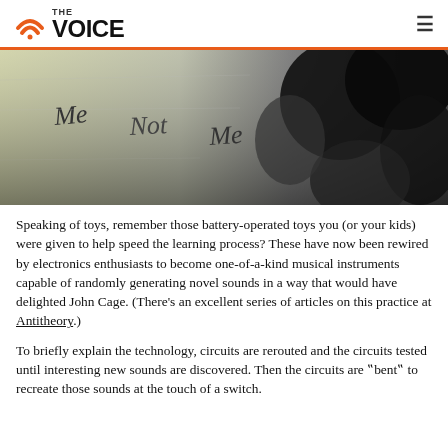THE VOICE
[Figure (photo): Black and white photo with handwritten text 'Me Not Me' on a light surface, with puzzle piece shapes in the background shadows.]
Speaking of toys, remember those battery-operated toys you (or your kids) were given to help speed the learning process? These have now been rewired by electronics enthusiasts to become one-of-a-kind musical instruments capable of randomly generating novel sounds in a way that would have delighted John Cage. (There’s an excellent series of articles on this practice at Antitheory.)
To briefly explain the technology, circuits are rerouted and the circuits tested until interesting new sounds are discovered. Then the circuits are ‟bent‟ to recreate those sounds at the touch of a switch.